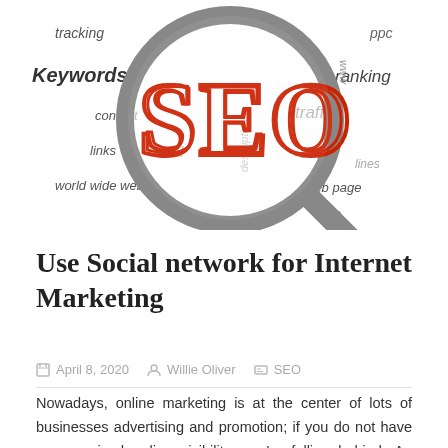[Figure (illustration): SEO word cloud illustration with a magnifying glass highlighting the word SEO in large red letters, surrounded by related terms: tracking, keywords, content, links, html, world wide web, description, traffic, sea, web page, seo, ppc, ranking, lines]
Use Social network for Internet Marketing
April 8, 2020   Willie Oliver   SEO
Nowadays, online marketing is at the center of lots of businesses advertising and promotion; if you do not have a recognised online visibility, you're falling behind. An excellent way to use the Web for online marketing is via social media systems such as Facebook, Twitter as well as Instagram, which have all end up being big advertising and marketing tools for businesses both huge as well as small. If you're struggling with how you can use social networks